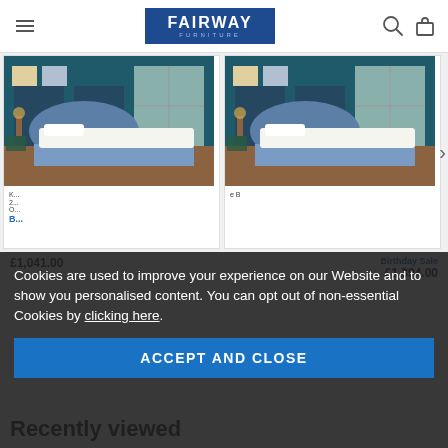FAIRWAY FURNITURE
[Figure (photo): Two bedroom product photos showing divan beds with upholstered headboards in a blue-themed bedroom setting]
£1,041.00
Birthday Sale
£1,394.00
Cookies are used to improve your experience on our Website and to show you personalised content. You can opt out of non-essential Cookies by clicking here.
ACCEPT AND CLOSE
Recently viewed